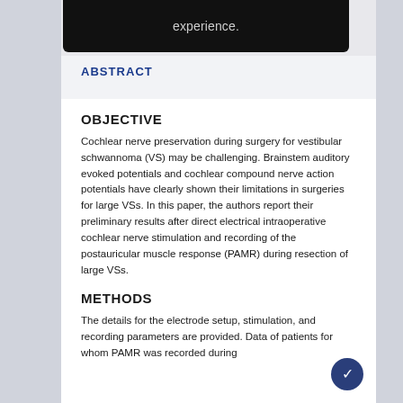[Figure (other): Black banner at top partially visible showing the word 'experience.' in grey text on dark background]
ABSTRACT
OBJECTIVE
Cochlear nerve preservation during surgery for vestibular schwannoma (VS) may be challenging. Brainstem auditory evoked potentials and cochlear compound nerve action potentials have clearly shown their limitations in surgeries for large VSs. In this paper, the authors report their preliminary results after direct electrical intraoperative cochlear nerve stimulation and recording of the postauricular muscle response (PAMR) during resection of large VSs.
METHODS
The details for the electrode setup, stimulation, and recording parameters are provided. Data of patients for whom PAMR was recorded during